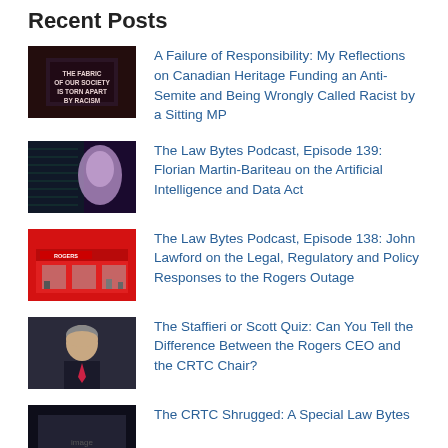Recent Posts
A Failure of Responsibility: My Reflections on Canadian Heritage Funding an Anti-Semite and Being Wrongly Called Racist by a Sitting MP
The Law Bytes Podcast, Episode 139: Florian Martin-Bariteau on the Artificial Intelligence and Data Act
The Law Bytes Podcast, Episode 138: John Lawford on the Legal, Regulatory and Policy Responses to the Rogers Outage
The Staffieri or Scott Quiz: Can You Tell the Difference Between the Rogers CEO and the CRTC Chair?
The CRTC Shrugged: A Special Law Bytes